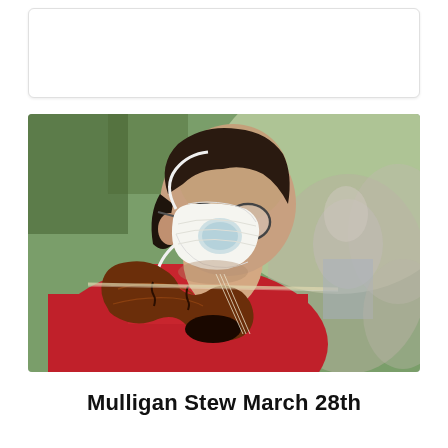[Figure (other): Empty white card/placeholder box at top of page]
[Figure (photo): A man wearing a white N95 respirator mask and glasses, dressed in a red shirt, playing the violin. He is viewed from the side/profile. In the blurred background, other musicians and outdoor greenery are visible.]
Mulligan Stew March 28th